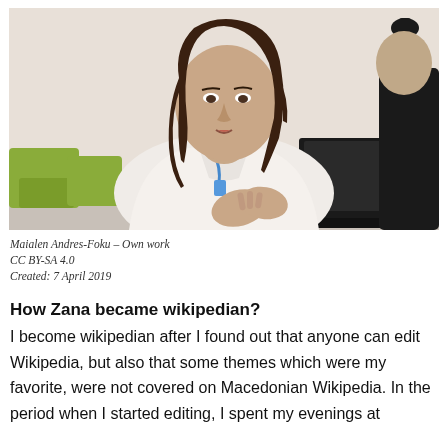[Figure (photo): A woman with long brown hair wearing a white jacket and blue lanyard, sitting at a table with a laptop, gesturing with her hands, with green chairs and a microphone visible in the background.]
Maialen Andres-Foku – Own work
CC BY-SA 4.0
Created: 7 April 2019
How Zana became wikipedian?
I become wikipedian after I found out that anyone can edit Wikipedia, but also that some themes which were my favorite, were not covered on Macedonian Wikipedia. In the period when I started editing, I spent my evenings at home on Wikipedia, as an active volunteer.